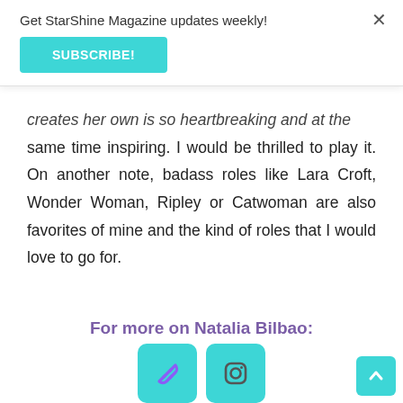Get StarShine Magazine updates weekly!
SUBSCRIBE!
creates her own is so heartbreaking and at the same time inspiring. I would be thrilled to play it. On another note, badass roles like Lara Croft, Wonder Woman, Ripley or Catwoman are also favorites of mine and the kind of roles that I would love to go for.
For more on Natalia Bilbao:
[Figure (illustration): Two teal rounded square social media icon buttons: a link/chain icon and an Instagram icon]
[Figure (illustration): Teal scroll-to-top arrow button in bottom right corner]